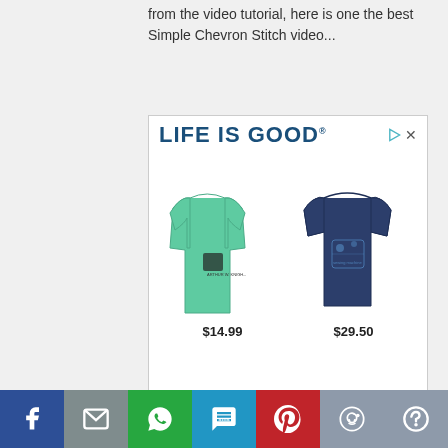from the video tutorial, here is one the best Simple Chevron Stitch video...
[Figure (advertisement): Life is Good brand advertisement showing two shirts: a mint green long-sleeve shirt priced at $14.99 and a navy blue t-shirt priced at $29.50]
[Figure (infographic): Social media share bar with buttons for Facebook, Mail, WhatsApp, SMS, Pinterest, Reddit, and More]